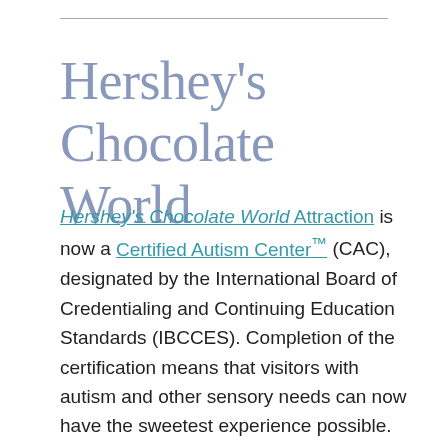Hershey's Chocolate World
Hershey's Chocolate World Attraction is now a Certified Autism Center™ (CAC), designated by the International Board of Credentialing and Continuing Education Standards (IBCCES). Completion of the certification means that visitors with autism and other sensory needs can now have the sweetest experience possible. The certification process includes evidence-based staff training and certification,